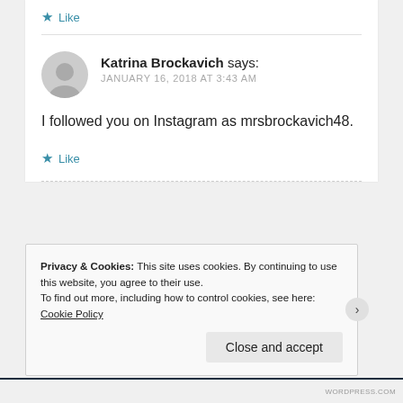★ Like
Katrina Brockavich says:
JANUARY 16, 2018 AT 3:43 AM
I followed you on Instagram as mrsbrockavich48.
★ Like
Privacy & Cookies: This site uses cookies. By continuing to use this website, you agree to their use.
To find out more, including how to control cookies, see here: Cookie Policy
Close and accept